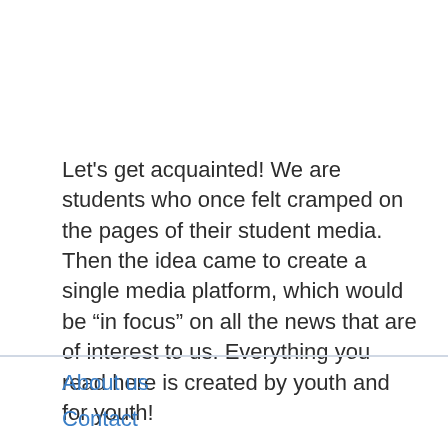Let's get acquainted! We are students who once felt cramped on the pages of their student media. Then the idea came to create a single media platform, which would be “in focus” on all the news that are of interest to us. Everything you read here is created by youth and for youth!
About us
Contact